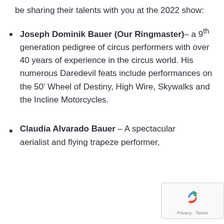be sharing their talents with you at the 2022 show:
Joseph Dominik Bauer (Our Ringmaster)– a 9th generation pedigree of circus performers with over 40 years of experience in the circus world. His numerous Daredevil feats include performances on the 50' Wheel of Destiny, High Wire, Skywalks and the Incline Motorcycles.
Claudia Alvarado Bauer – A spectacular aerialist and flying trapeze performer,